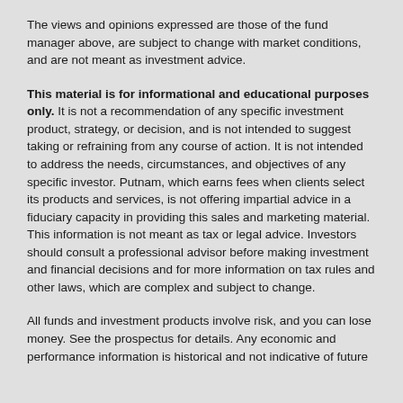The views and opinions expressed are those of the fund manager above, are subject to change with market conditions, and are not meant as investment advice.
This material is for informational and educational purposes only. It is not a recommendation of any specific investment product, strategy, or decision, and is not intended to suggest taking or refraining from any course of action. It is not intended to address the needs, circumstances, and objectives of any specific investor. Putnam, which earns fees when clients select its products and services, is not offering impartial advice in a fiduciary capacity in providing this sales and marketing material. This information is not meant as tax or legal advice. Investors should consult a professional advisor before making investment and financial decisions and for more information on tax rules and other laws, which are complex and subject to change.
All funds and investment products involve risk, and you can lose money. See the prospectus for details. Any economic and performance information is historical and not indicative of future